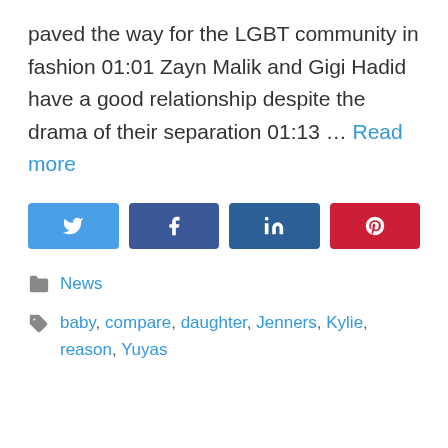paved the way for the LGBT community in fashion 01:01 Zayn Malik and Gigi Hadid have a good relationship despite the drama of their separation 01:13 … Read more
[Figure (other): Social share buttons: Twitter (blue), Facebook (blue), LinkedIn (dark blue), Pinterest (red)]
News
baby, compare, daughter, Jenners, Kylie, reason, Yuyas